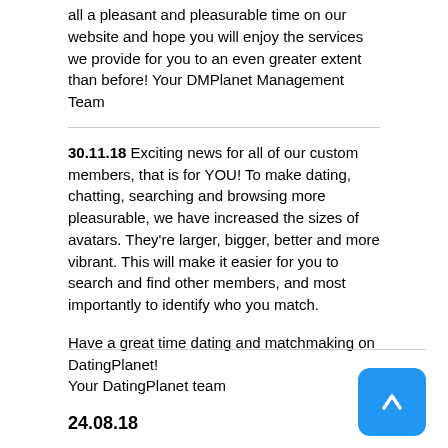all a pleasant and pleasurable time on our website and hope you will enjoy the services we provide for you to an even greater extent than before! Your DMPlanet Management Team
30.11.18 Exciting news for all of our custom members, that is for YOU! To make dating, chatting, searching and browsing more pleasurable, we have increased the sizes of avatars. They're larger, bigger, better and more vibrant. This will make it easier for you to search and find other members, and most importantly to identify who you match.
Have a great time dating and matchmaking on DatingPlanet!
Your DatingPlanet team
24.08.18